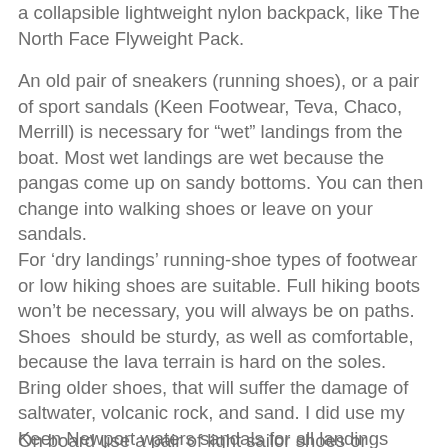a collapsible lightweight nylon backpack, like The North Face Flyweight Pack.
An old pair of sneakers (running shoes), or a pair of sport sandals (Keen Footwear, Teva, Chaco, Merrill) is necessary for “wet” landings from the boat. Most wet landings are wet because the pangas come up on sandy bottoms. You can then change into walking shoes or leave on your sandals.
For ‘dry landings’  running-shoe types of footwear or low hiking shoes are suitable. Full hiking boots won’t be necessary, you will always be on paths. Shoes  should be sturdy, as well as comfortable, because the lava terrain is hard on the soles. Bring older shoes, that will suffer the damage of saltwater, volcanic rock, and sand. I did use my Keen Newport waters sandals for all landings (both wet and dry) and did not change.
On board use a pair of light sailor shoes or sandals.